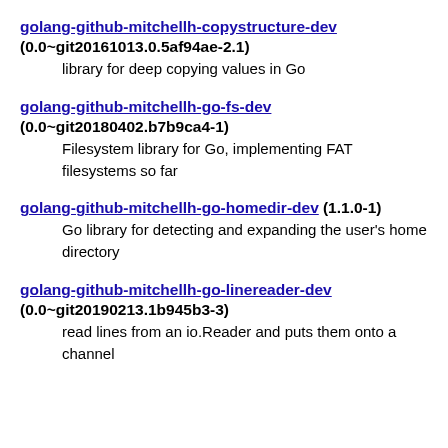golang-github-mitchellh-copystructure-dev (0.0~git20161013.0.5af94ae-2.1)
    library for deep copying values in Go
golang-github-mitchellh-go-fs-dev (0.0~git20180402.b7b9ca4-1)
    Filesystem library for Go, implementing FAT filesystems so far
golang-github-mitchellh-go-homedir-dev (1.1.0-1)
    Go library for detecting and expanding the user's home directory
golang-github-mitchellh-go-linereader-dev (0.0~git20190213.1b945b3-3)
    read lines from an io.Reader and puts them onto a channel